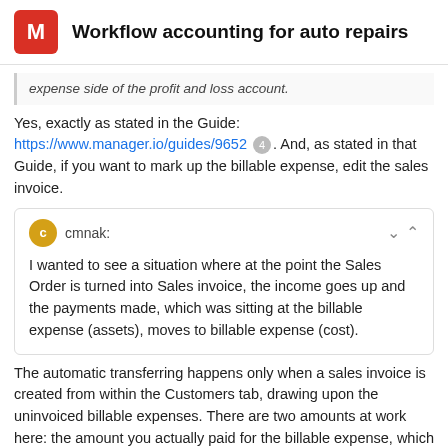M  Workflow accounting for auto repairs
expense side of the profit and loss account.
Yes, exactly as stated in the Guide: https://www.manager.io/guides/9652 4 . And, as stated in that Guide, if you want to mark up the billable expense, edit the sales invoice.
cmnak: I wanted to see a situation where at the point the Sales Order is turned into Sales invoice, the income goes up and the payments made, which was sitting at the billable expense (assets), moves to billable expense (cost).
The automatic transferring happens only when a sales invoice is created from within the Customers tab, drawing upon the uninvoiced billable expenses. There are two amounts at work here: the amount you actually paid for the billable expense, which ends up in Billable expenses - cost, and the amount you